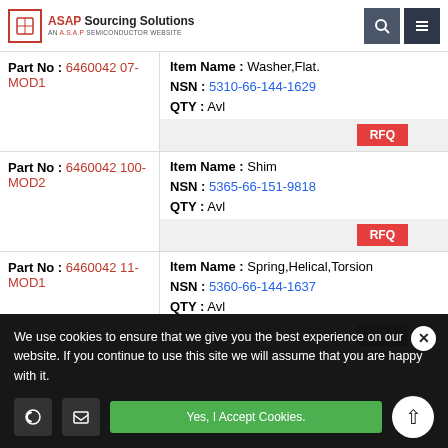ASAP Sourcing Solutions – AN A.S.A.P SEMICONDUCTOR WEBSITE
| Part No | Item Name / NSN / QTY |
| --- | --- |
| 6460042 07-MOD1 | Item Name: Washer,Flat. | NSN: 5310-66-144-1629 | QTY: Avl |
| 6460042 100-MOD2 | Item Name: Shim | NSN: 5365-66-151-9818 | QTY: Avl |
| 6460042 11-MOD1 | Item Name: Spring,Helical,Torsion | NSN: 5360-66-144-1637 | QTY: Avl |
We use cookies to ensure that we give you the best experience on our website. If you continue to use this site we will assume that you are happy with it.